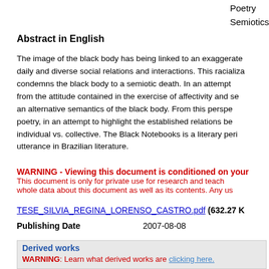Poetry
Semiotics
Abstract in English
The image of the black body has being linked to an exaggerated daily and diverse social relations and interactions. This racialization condemns the black body to a semiotic death. In an attempt from the attitude contained in the exercise of affectivity and semiotics an alternative semantics of the black body. From this perspective poetry, in an attempt to highlight the established relations between individual vs. collective. The Black Notebooks is a literary periodical utterance in Brazilian literature.
WARNING - Viewing this document is conditioned on your acceptance of the following usage policies.
This document is only for private use for research and teaching activities. Reproduction for commercial use is forbidden. This rights cover the whole data about this document as well as its contents. Any use of information of this document should be reported as such by the author or same.
TESE_SILVIA_REGINA_LORENSO_CASTRO.pdf (632.27 K
| Publishing Date |  |
| --- | --- |
| Publishing Date | 2007-08-08 |
Derived works
WARNING: Learn what derived works are clicking here.